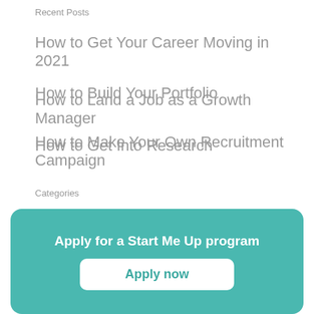Recent Posts
How to Get Your Career Moving in 2021
How to Build Your Portfolio
How to Make Your Own Recruitment Campaign
How to Land a Job as a Growth Manager
How to Get Into Research
Categories
Blog:
Apply for a Start Me Up program
Apply now